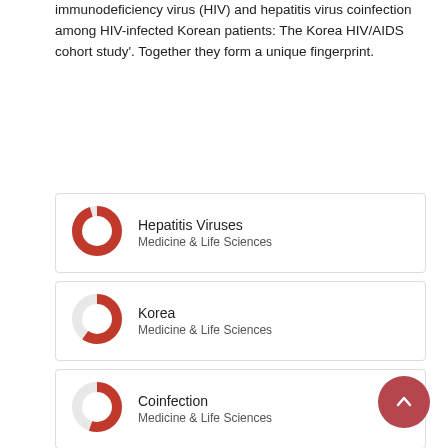immunodeficiency virus (HIV) and hepatitis virus coinfection among HIV-infected Korean patients: The Korea HIV/AIDS cohort study'. Together they form a unique fingerprint.
Hepatitis Viruses — Medicine & Life Sciences
Korea — Medicine & Life Sciences
Coinfection — Medicine & Life Sciences
Acquired Immunodeficiency Syndrome — Medicine & Life Sciences
HIV — Medicine & Life Sciences